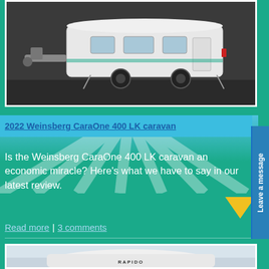[Figure (photo): White caravan (Weinsberg CaraOne 400 LK) parked on a dark surface, viewed from a 3/4 front angle showing the tow hitch and stabilizer legs]
2022 Weinsberg CaraOne 400 LK caravan
Is the Weinsberg CaraOne 400 LK caravan an economic miracle? Here's what we have to say in our latest review.
Read more | 3 comments
[Figure (photo): Rapido motorhome/campervan, white, viewed from the front against a light sky background, with RAPIDO branding visible on the body]